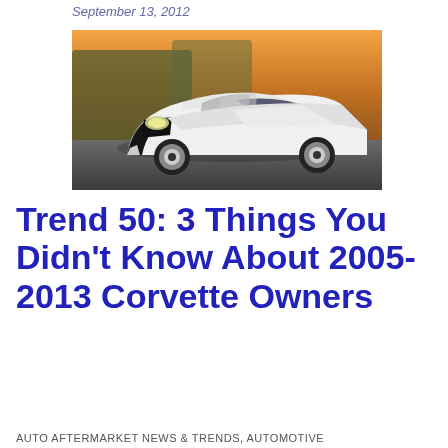September 13, 2012
[Figure (photo): White Corvette convertible with silver racing stripes driving on a road, front three-quarter view, with sunset background]
Trend 50: 3 Things You Didn't Know About 2005-2013 Corvette Owners
AUTO AFTERMARKET NEWS & TRENDS, AUTOMOTIVE